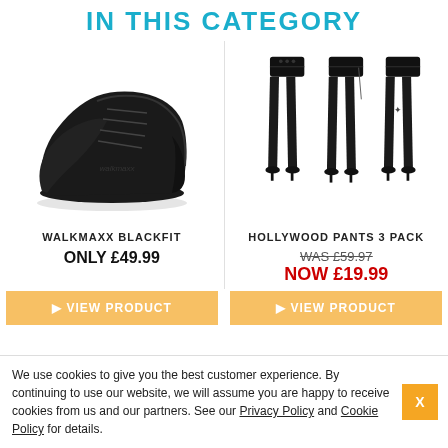IN THIS CATEGORY
[Figure (photo): Black athletic sneakers / walkmaxx blackfit shoes on white background]
[Figure (photo): Three women wearing black high-waist leggings/pants with high heels]
WALKMAXX BLACKFIT
HOLLYWOOD PANTS 3 PACK
ONLY £49.99
WAS £59.97
NOW £19.99
VIEW PRODUCT
VIEW PRODUCT
We use cookies to give you the best customer experience. By continuing to use our website, we will assume you are happy to receive cookies from us and our partners. See our Privacy Policy and Cookie Policy for details.